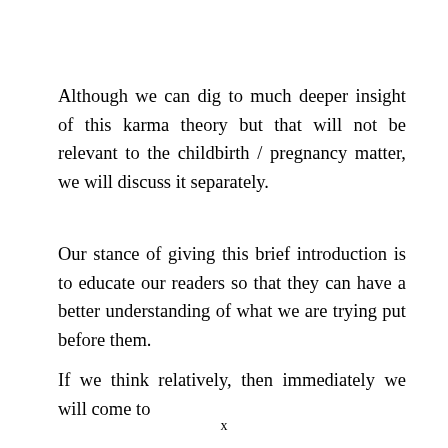Although we can dig to much deeper insight of this karma theory but that will not be relevant to the childbirth / pregnancy matter, we will discuss it separately.
Our stance of giving this brief introduction is to educate our readers so that they can have a better understanding of what we are trying put before them.
If we think relatively, then immediately we will come to
x